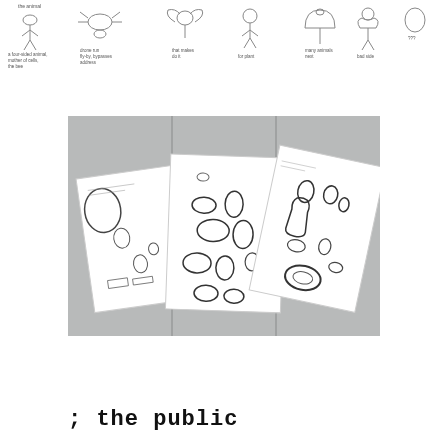[Figure (illustration): A row of small cartoon-style line drawings of figures/characters with handwritten annotations below each one, arranged horizontally across the top of the page.]
[Figure (photo): A photograph showing three sheets of white paper with sketches/drawings laid out on a grey surface. The papers contain various hand-drawn shapes, forms, and annotations.]
; the public